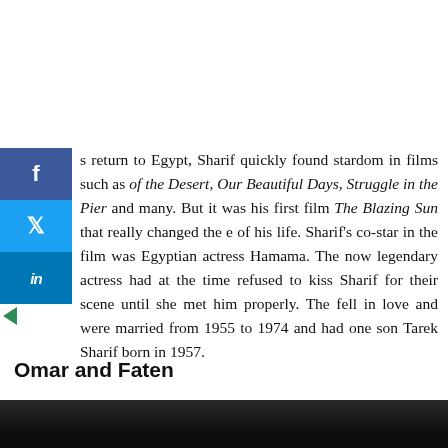s return to Egypt, Sharif quickly found stardom in films such as of the Desert, Our Beautiful Days, Struggle in the Pier and many. But it was his first film The Blazing Sun that really changed the e of his life. Sharif's co-star in the film was Egyptian actress Hamama. The now legendary actress had at the time refused to kiss Sharif for their scene until she met him properly. The fell in love and were married from 1955 to 1974 and had one son Tarek Sharif born in 1957.
Omar and Faten
[Figure (photo): Black and white photograph (partially visible at bottom of page)]